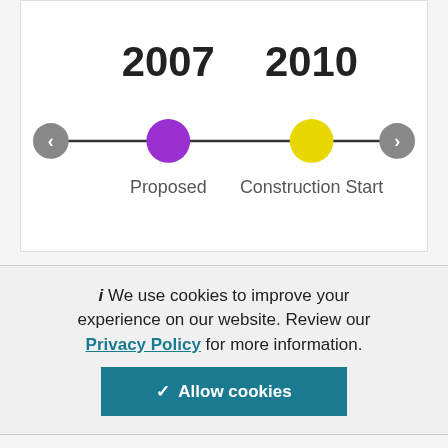[Figure (infographic): A horizontal timeline showing two milestone points: 2007 (Proposed, purple dot) and 2010 (Construction Start, yellow dot). Navigation arrows on left and right ends of the timeline line.]
i We use cookies to improve your experience on our website. Review our Privacy Policy for more information.
✓ Allow cookies